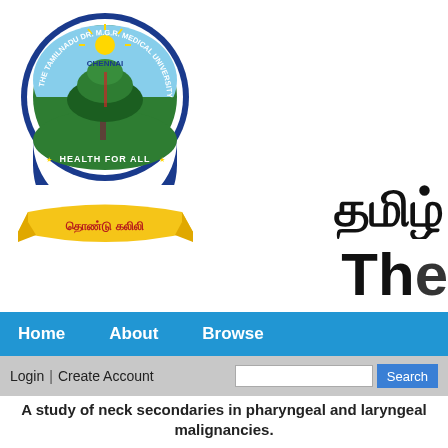[Figure (logo): Tamilnadu Dr. M.G.R. Medical University Chennai crest logo with tree, Health For All banner, and Tamil text ribbon below]
தமிழ்
The
Home   About   Browse
Login | Create Account   [Search box]   Search
A study of neck secondaries in pharyngeal and laryngeal malignancies.
Sundararaman, V (2007) A study of neck secondaries in pharyngeal and laryngeal malignancies. Masters thesis, Madurai Medical College, Madurai.